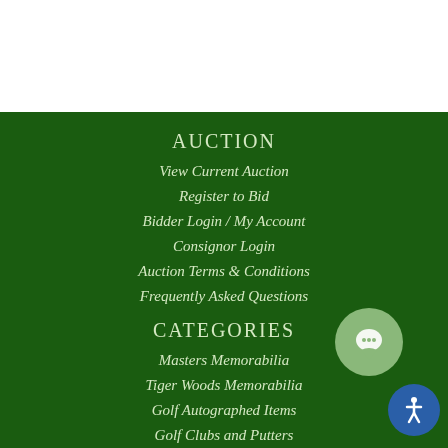AUCTION
View Current Auction
Register to Bid
Bidder Login / My Account
Consignor Login
Auction Terms & Conditions
Frequently Asked Questions
CATEGORIES
Masters Memorabilia
Tiger Woods Memorabilia
Golf Autographed Items
Golf Clubs and Putters